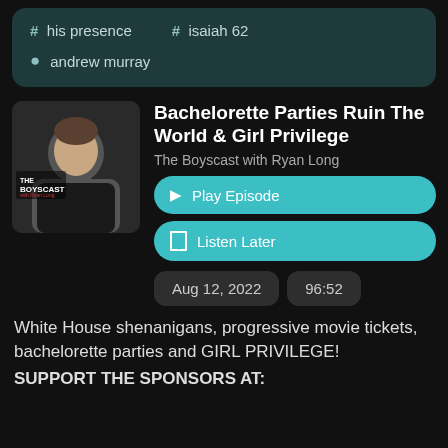# his presence
# isaiah 62
andrew murray
Bachelorette Parties Ruin The World & Girl Privilege
The Boyscast with Ryan Long
Play Episode
Listen Later
Aug 12, 2022
96:52
White House shenanigans, progressive movie tickets, bachelorette parties and GIRL PRIVILEGE! SUPPORT THE SPONSORS AT: